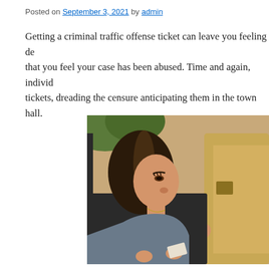Posted on September 3, 2021 by admin
Getting a criminal traffic offense ticket can leave you feeling de… that you feel your case has been abused. Time and again, individ… tickets, dreading the censure anticipating them in the town hall.
[Figure (photo): A young woman sitting in the driver's seat of a car, looking toward her window where a police officer in a tan uniform is visible. The woman appears to be handing over documents.]